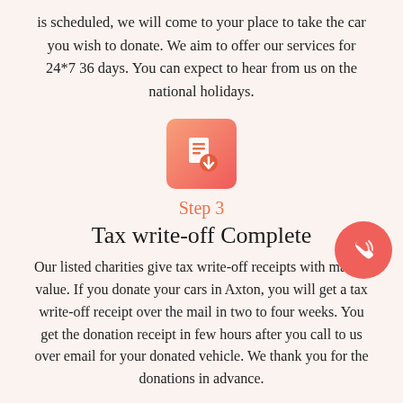is scheduled, we will come to your place to take the car you wish to donate. We aim to offer our services for 24*7 36 days. You can expect to hear from us on the national holidays.
[Figure (illustration): Orange-to-red gradient square icon with a white document/receipt with a downward arrow symbol, representing a tax receipt or download step.]
Step 3
Tax write-off Complete
Our listed charities give tax write-off receipts with market value. If you donate your cars in Axton, you will get a tax write-off receipt over the mail in two to four weeks. You get the donation receipt in few hours after you call to us over email for your donated vehicle. We thank you for the donations in advance.
[Figure (illustration): A pink/red circular phone call button with a white telephone icon with signal waves, positioned at the bottom right.]